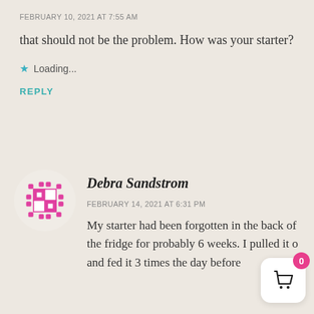FEBRUARY 10, 2021 AT 7:55 AM
that should not be the problem. How was your starter?
★ Loading...
REPLY
[Figure (illustration): Pink quilt-pattern avatar icon for Debra Sandstrom]
Debra Sandstrom
FEBRUARY 14, 2021 AT 6:31 PM
My starter had been forgotten in the back of the fridge for probably 6 weeks. I pulled it o and fed it 3 times the day before